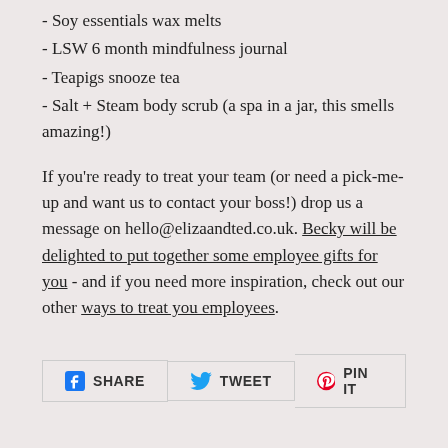- Soy essentials wax melts
- LSW 6 month mindfulness journal
- Teapigs snooze tea
- Salt + Steam body scrub (a spa in a jar, this smells amazing!)
If you're ready to treat your team (or need a pick-me-up and want us to contact your boss!) drop us a message on hello@elizaandted.co.uk. Becky will be delighted to put together some employee gifts for you - and if you need more inspiration, check out our other ways to treat you employees.
[Figure (infographic): Social share buttons: SHARE (Facebook), TWEET (Twitter), PIN IT (Pinterest)]